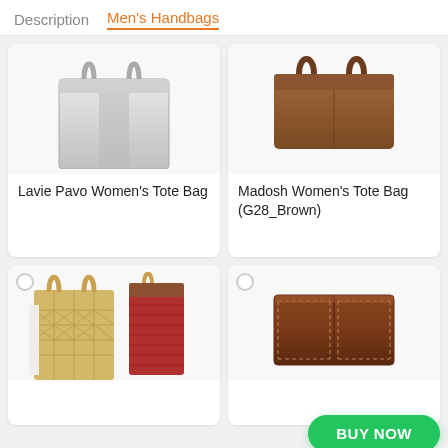Description  Men's Handbags
[Figure (photo): Lavie Pavo Women's Tote Bag product image - silver/gray bag shown from above]
Lavie Pavo Women's Tote Bag
[Figure (photo): Madosh Women's Tote Bag (G28_Brown) product image - brown leather bag]
Madosh Women's Tote Bag (G28_Brown)
[Figure (photo): Two woven tote bags - one gold/beige quilted, one red/dark red]
[Figure (photo): Brown leather bifold wallet]